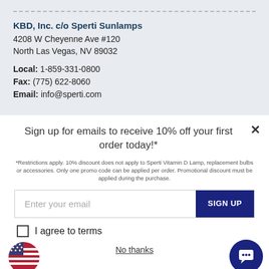KBD, Inc. c/o Sperti Sunlamps
4208 W Cheyenne Ave #120
North Las Vegas, NV 89032
Local: 1-859-331-0800
Fax: (775) 622-8060
Email: info@sperti.com
Sign up for emails to receive 10% off your first order today!*
*Restrictions apply. 10% discount does not apply to Sperti Vitamin D Lamp, replacement bulbs or accessories. Only one promo code can be applied per order. Promotional discount must be applied during the purchase.
Enter your email
SIGN UP
I agree to terms
No thanks